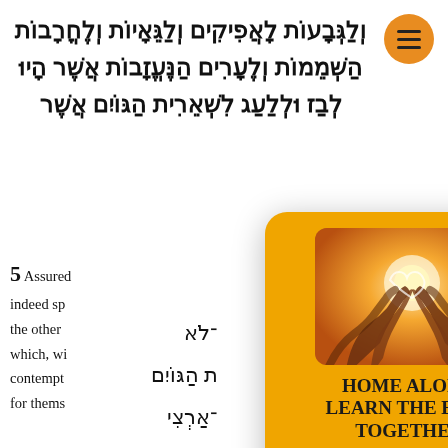וְלַגְּבָעוֹת לָאֲפִיקִים וְלַגֵּאָיוֹת וְלֶחֳרָבוֹת הַשְּׁמֵמוֹת וְלֶעָרִים הַנֶּעֱזָבוֹת אֲשֶׁר הָיוּ לְבַז וּלְלַעַג לִשְׁאֵרִית הַגּוֹיִם אֲשֶׁר
5 Assured... indeed sp... the other... which, wi... contempt... for thems...
Hebrew bottom text lines
[Figure (photo): A modal popup overlay with orange/amber background, showing hands forming heart shapes raised toward sunlight (photo), title text 'HOME ALONE? LEARN THE BIBLE TOGETHER!', a black 'JOIN THE TRIBE' button, and a 'No thanks I don't want to join.' decline link. A white X close button is in the top-right corner.]